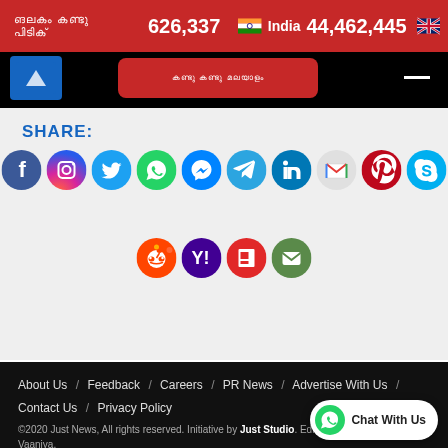626,337  India  44,462,445
SHARE:
[Figure (infographic): Social media share icons: Facebook, Instagram, Twitter, WhatsApp, Messenger, Telegram, LinkedIn, Gmail, Pinterest, Skype (row 1); Reddit, Yahoo, Flipboard, Email (row 2)]
About Us / Feedback / Careers / PR News / Advertise With Us / Contact Us / Privacy Policy
©2020 Just News, All rights reserved. Initiative by Just Studio. Editor-In-Chief Suchandraa Vaaniya.